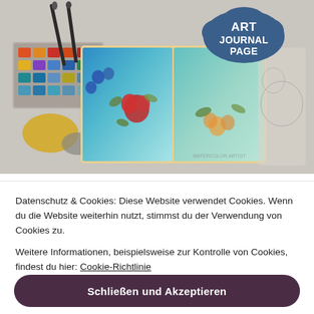[Figure (photo): A flat-lay photograph of an art journal spread with watercolor floral paintings in blue and teal tones, surrounded by watercolor paints and brushes. A cloud-shaped badge in the upper right reads 'ART JOURNAL PAGE'.]
Datenschutz & Cookies: Diese Website verwendet Cookies. Wenn du die Website weiterhin nutzt, stimmst du der Verwendung von Cookies zu.
Weitere Informationen, beispielsweise zur Kontrolle von Cookies, findest du hier: Cookie-Richtlinie
Schließen und Akzeptieren